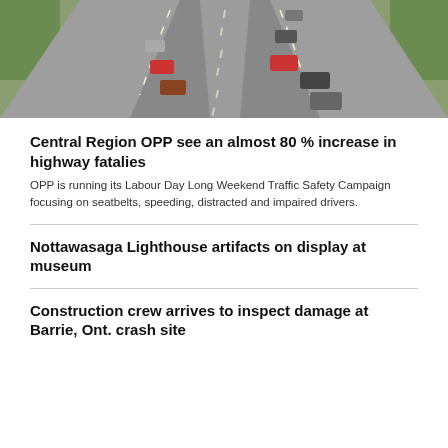[Figure (photo): Aerial or elevated view of a highway with traffic — multiple cars and trucks on a multi-lane road, green trees visible on the sides]
Central Region OPP see an almost 80 % increase in highway fatalies
OPP is running its Labour Day Long Weekend Traffic Safety Campaign focusing on seatbelts, speeding, distracted and impaired drivers.
Nottawasaga Lighthouse artifacts on display at museum
Construction crew arrives to inspect damage at Barrie, Ont. crash site